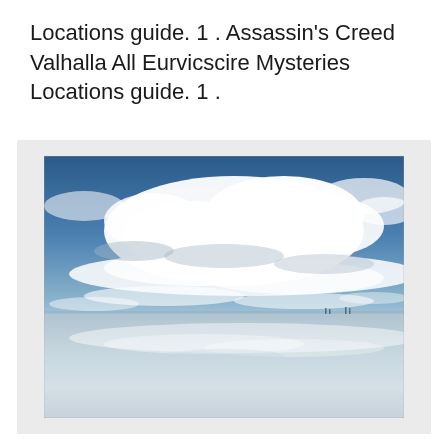Locations guide. 1 . Assassin's Creed Valhalla All Eurvicscire Mysteries Locations guide. 1 .
[Figure (photo): A landscape photo showing a vast sky with white and grey clouds over a reflective flat surface (salt flat or shallow water), giving a mirror effect. The upper portion shows deep blue sky with billowing white clouds, and the lower portion reflects the same scene.]